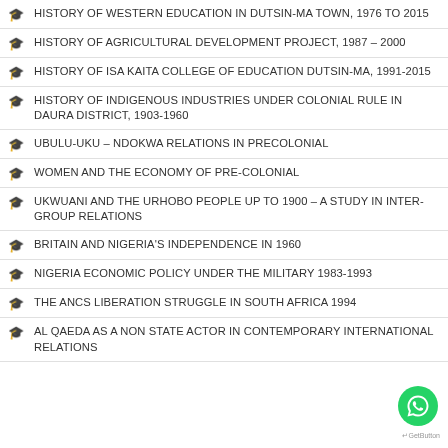HISTORY OF WESTERN EDUCATION IN DUTSIN-MA TOWN, 1976 TO 2015
HISTORY OF AGRICULTURAL DEVELOPMENT PROJECT, 1987 – 2000
HISTORY OF ISA KAITA COLLEGE OF EDUCATION DUTSIN-MA, 1991-2015
HISTORY OF INDIGENOUS INDUSTRIES UNDER COLONIAL RULE IN DAURA DISTRICT, 1903-1960
UBULU-UKU – NDOKWA RELATIONS IN PRECOLONIAL
WOMEN AND THE ECONOMY OF PRE-COLONIAL
UKWUANI AND THE URHOBO PEOPLE UP TO 1900 – A STUDY IN INTER-GROUP RELATIONS
BRITAIN AND NIGERIA'S INDEPENDENCE IN 1960
NIGERIA ECONOMIC POLICY UNDER THE MILITARY 1983-1993
THE ANCS LIBERATION STRUGGLE IN SOUTH AFRICA 1994
AL QAEDA AS A NON STATE ACTOR IN CONTEMPORARY INTERNATIONAL RELATIONS